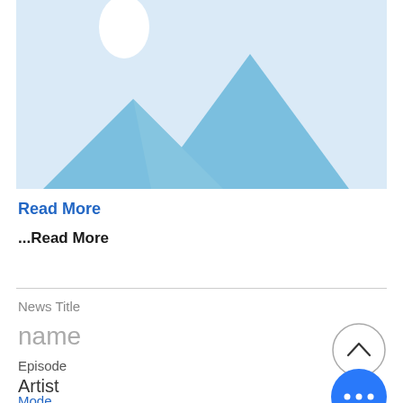[Figure (illustration): Placeholder image icon with light blue background, white oval sun, and blue mountain silhouettes]
Read More
...Read More
News Title
name
Episode
Artist
Mode